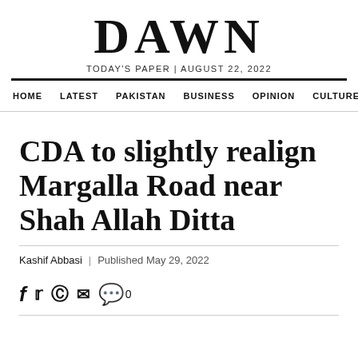DAWN
TODAY'S PAPER | AUGUST 22, 2022
HOME  LATEST  PAKISTAN  BUSINESS  OPINION  CULTURE
CDA to slightly realign Margalla Road near Shah Allah Ditta
Kashif Abbasi | Published May 29, 2022